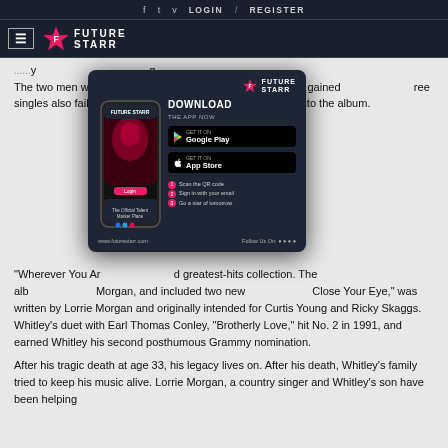f  t  v  LOGIN  /  REGISTER
[Figure (logo): Future Starr logo with hamburger menu icon and star/text logo on dark navy background]
The two men were members of the Plain Boys in the 1970s and gained recognition. Three singles also failed to chart on and their way onto the album.
[Figure (infographic): Future Starr app download popup ad with phone mockup, Google Play and App Store buttons, QR code steps, and www.futurestarr.com footer]
"Wherever You Are" greatest-hits collection. The album Morgan, and included two new Close Your Eye," was written by Lorrie Morgan and originally intended for Curtis Young and Ricky Skaggs. Whitley's duet with Earl Thomas Conley, "Brotherly Love," hit No. 2 in 1991, and earned Whitley his second posthumous Grammy nomination.
After his tragic death at age 33, his legacy lives on. After his death, Whitley's family tried to keep his music alive. Lorrie Morgan, a country singer and Whitley's son have been helping